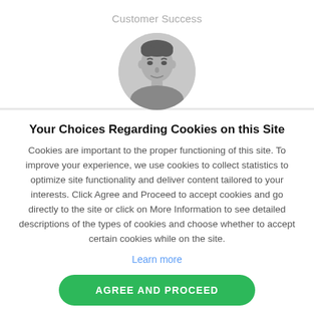Customer Success
[Figure (photo): Circular grayscale portrait photo of a man with short dark hair, smiling slightly, shown from shoulders up against a light background.]
Your Choices Regarding Cookies on this Site
Cookies are important to the proper functioning of this site. To improve your experience, we use cookies to collect statistics to optimize site functionality and deliver content tailored to your interests. Click Agree and Proceed to accept cookies and go directly to the site or click on More Information to see detailed descriptions of the types of cookies and choose whether to accept certain cookies while on the site.
Learn more
AGREE AND PROCEED